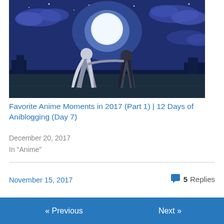[Figure (illustration): Anime illustration showing two girls sitting on a rooftop at night under a large full moon with a blue/purple cloudy sky]
Favorite Anime Moments in 2017 (Part 1) | 12 Days of Aniblogging (Day 7)
December 20, 2017
In "Anime"
November 15, 2017
5 Replies
« Previous
Next »